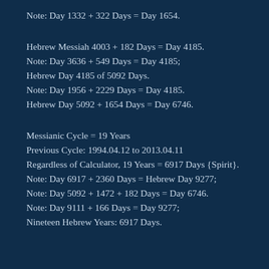Note: Day 1332 + 322 Days = Day 1654.
Hebrew Messiah 4003 + 182 Days = Day 4185.
Note: Day 3636 + 549 Days = Day 4185;
Hebrew Day 4185 of 5092 Days.
Note: Day 1956 + 2229 Days = Day 4185.
Hebrew Day 5092 + 1654 Days = Day 6746.
Messianic Cycle = 19 Years
Previous Cycle: 1994.04.12 to 2013.04.11
Regardless of Calculator, 19 Years = 6917 Days {Spirit}.
Note: Day 6917 + 2360 Days = Hebrew Day 9277;
Note: Day 5092 + 1472 + 182 Days = Day 6746.
Note: Day 9111 + 166 Days = Day 9277;
Nineteen Hebrew Years: 6917 Days.